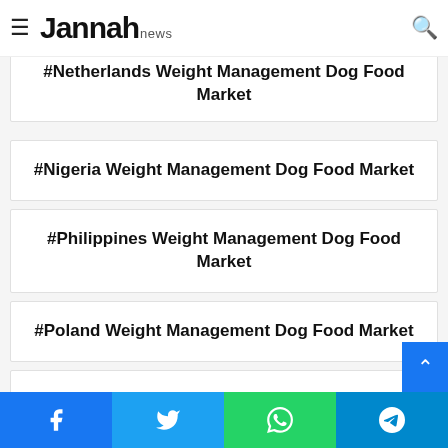Jannah news
#Netherlands Weight Management Dog Food Market
#Nigeria Weight Management Dog Food Market
#Philippines Weight Management Dog Food Market
#Poland Weight Management Dog Food Market
#Russia Weight Management Dog Food Market
#Saudi Arabia Weight Management Dog Food Market
Facebook | Twitter | WhatsApp | Telegram